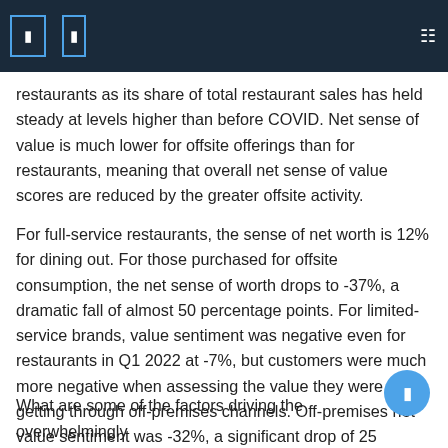restaurants as its share of total restaurant sales has held steady at levels higher than before COVID. Net sense of value is much lower for offsite offerings than for restaurants, meaning that overall net sense of value scores are reduced by the greater offsite activity.
For full-service restaurants, the sense of net worth is 12% for dining out. For those purchased for offsite consumption, the net sense of worth drops to -37%, a dramatic fall of almost 50 percentage points. For limited-service brands, value sentiment was negative even for restaurants in Q1 2022 at -7%, but customers were much more negative when assessing the value they were getting through off-premises channels. Off-premises net value sentiment was -32%, a significant drop of 25 percentage points from the restaurant.
What are some of the factors driving the overwhelmingly